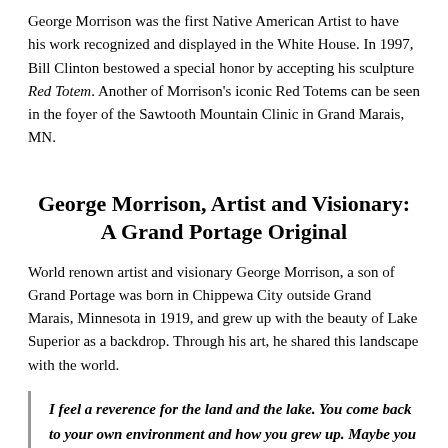George Morrison was the first Native American Artist to have his work recognized and displayed in the White House. In 1997, Bill Clinton bestowed a special honor by accepting his sculpture Red Totem. Another of Morrison's iconic Red Totems can be seen in the foyer of the Sawtooth Mountain Clinic in Grand Marais, MN.
George Morrison, Artist and Visionary: A Grand Portage Original
World renown artist and visionary George Morrison, a son of Grand Portage was born in Chippewa City outside Grand Marais, Minnesota in 1919, and grew up with the beauty of Lake Superior as a backdrop. Through his art, he shared this landscape with the world.
I feel a reverence for the land and the lake. You come back to your own environment and how you grew up. Maybe you are drawn to the people too- those you grew up with. A certain